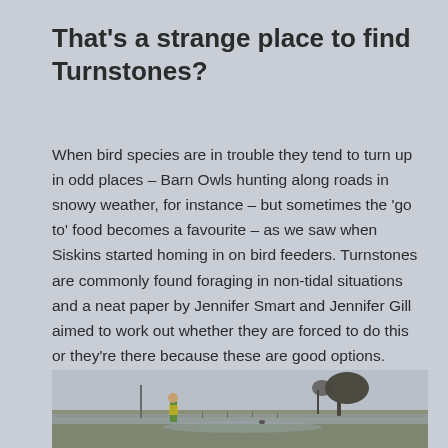That's a strange place to find Turnstones?
When bird species are in trouble they tend to turn up in odd places – Barn Owls hunting along roads in snowy weather, for instance – but sometimes the 'go to' food becomes a favourite – as we saw when Siskins started homing in on bird feeders. Turnstones are commonly found foraging in non-tidal situations and a neat paper by Jennifer Smart and Jennifer Gill aimed to work out whether they are forced to do this or they're there because these are good options.
[Figure (photo): Outdoor scene showing a person standing in a flat, open landscape near water, with bare trees on the right and an overcast sky. The person is wearing a green and yellow jacket.]